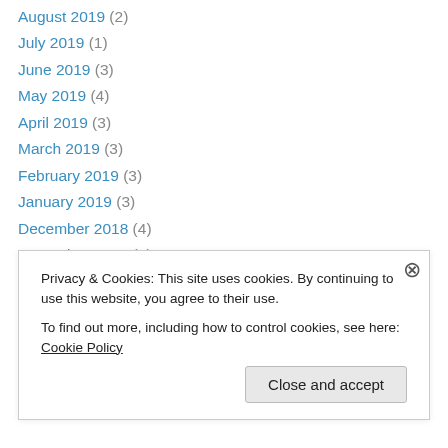August 2019 (2)
July 2019 (1)
June 2019 (3)
May 2019 (4)
April 2019 (3)
March 2019 (3)
February 2019 (3)
January 2019 (3)
December 2018 (4)
November 2018 (5)
October 2018 (3)
September 2018 (2)
August 2018 (3)
Privacy & Cookies: This site uses cookies. By continuing to use this website, you agree to their use.
To find out more, including how to control cookies, see here: Cookie Policy